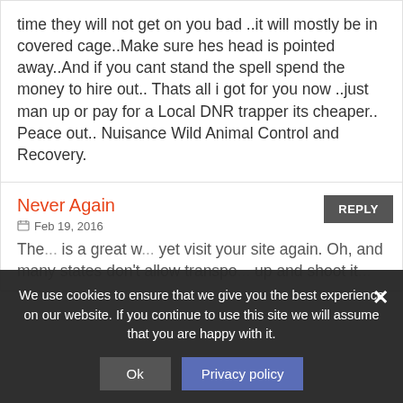time they will not get on you bad ..it will mostly be in covered cage..Make sure hes head is pointed away..And if you cant stand the spell spend the money to hire out.. Thats all i got for you now ..just man up or pay for a Local DNR trapper its cheaper.. Peace out.. Nuisance Wild Animal Control and Recovery.
Never Again
Feb 19, 2016
The... is a great w... yet visit your site again. Oh, and many states don't allow transpo... up and shoot it...
We use cookies to ensure that we give you the best experience on our website. If you continue to use this site we will assume that you are happy with it.